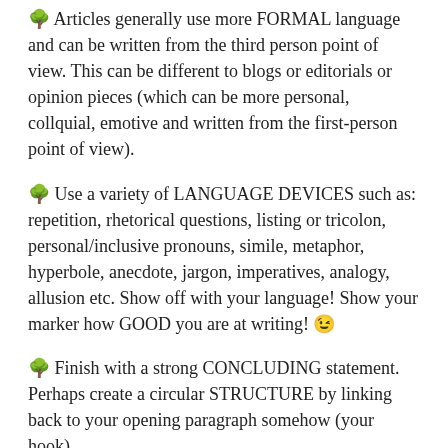🌳 Articles generally use more FORMAL language and can be written from the third person point of view. This can be different to blogs or editorials or opinion pieces (which can be more personal, collquial, emotive and written from the first-person point of view).
🌳 Use a variety of LANGUAGE DEVICES such as: repetition, rhetorical questions, listing or tricolon, personal/inclusive pronouns, simile, metaphor, hyperbole, anecdote, jargon, imperatives, analogy, allusion etc. Show off with your language! Show your marker how GOOD you are at writing! 😉
🌳 Finish with a strong CONCLUDING statement. Perhaps create a circular STRUCTURE by linking back to your opening paragraph somehow (your hook).
Students who prefer non-fiction and have a good